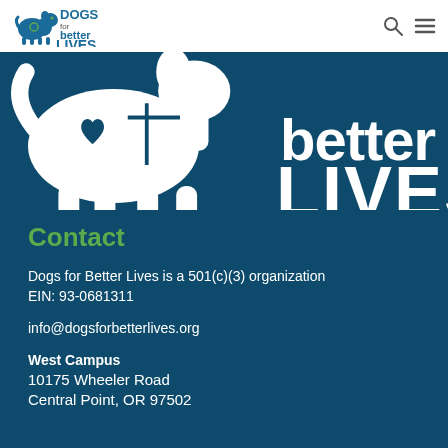[Figure (logo): Dogs for Better Lives logo in top navigation bar — dog silhouette with green and blue text]
[Figure (logo): Large Dogs for Better Lives logo on dark teal background showing white dog silhouette and 'better LIVES.' text in white]
Contact
Dogs for Better Lives is a 501(c)(3) organization
EIN: 93-0681311
info@dogsforbetterlives.org
West Campus
10175 Wheeler Road
Central Point, OR 97502